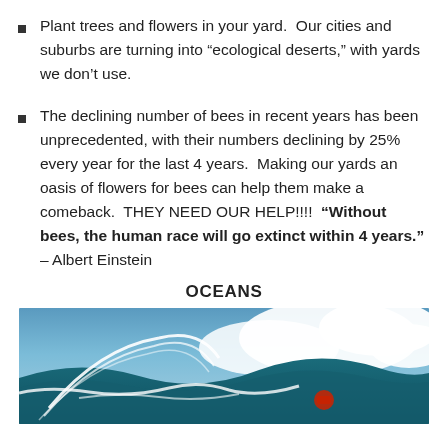Plant trees and flowers in your yard.  Our cities and suburbs are turning into “ecological deserts,” with yards we don’t use.
The declining number of bees in recent years has been unprecedented, with their numbers declining by 25% every year for the last 4 years.  Making our yards an oasis of flowers for bees can help them make a comeback.  THEY NEED OUR HELP!!!!  “Without bees, the human race will go extinct within 4 years.” – Albert Einstein
OCEANS
[Figure (photo): Ocean wave photo with white curved lines and a red element visible, blue sky and clouds in background]